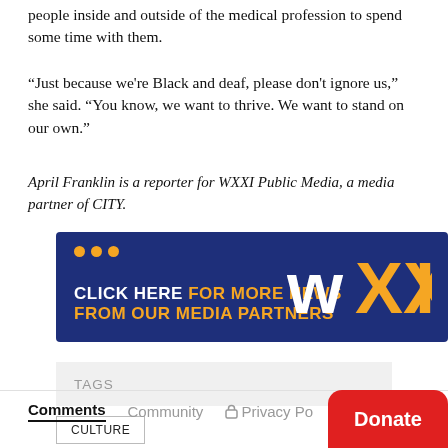people inside and outside of the medical profession to spend some time with them.
“Just because we're Black and deaf, please don't ignore us,” she said. “You know, we want to thrive. We want to stand on our own.”
April Franklin is a reporter for WXXI Public Media, a media partner of CITY.
[Figure (logo): WXXI Public Media banner advertisement: dark navy blue background with three orange dots, text reading CLICK HERE FOR MORE NEWS FROM OUR MEDIA PARTNERS in white and orange, and the WXXI logo in white and orange on the right.]
TAGS
CULTURE
Comments  Community  Privacy Po...  Donate